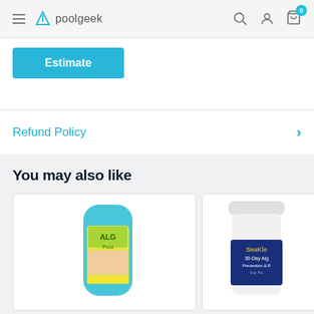poolgeek
Estimate
Refund Policy
You may also like
[Figure (photo): Product image - blurred pool chemical product with teal/blue container and colorful label]
[Figure (photo): Product image - SeaKlear 30-Day Algae Prevention & R... product bottle partially visible]